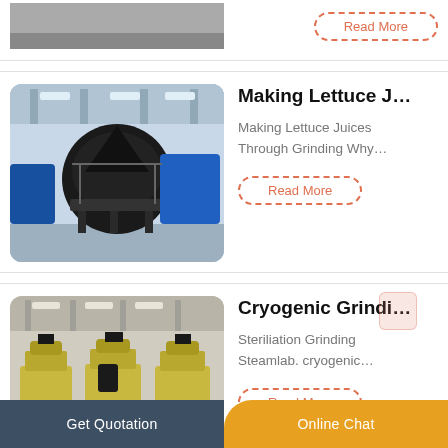[Figure (photo): Partial view of industrial machine (cropped at top of page)]
Read More
[Figure (photo): Industrial grinding machine in factory setting, black machinery on blue equipment in large warehouse]
Making Lettuce J…
Making Lettuce Juices Through Grinding Why…
Read More
[Figure (photo): Three yellow/cream colored cryogenic grinding machines lined up in a factory]
Cryogenic Grindi…
Steriliation Grinding Steamlab. cryogenic…
Read More
Get Quotation   Online Chat